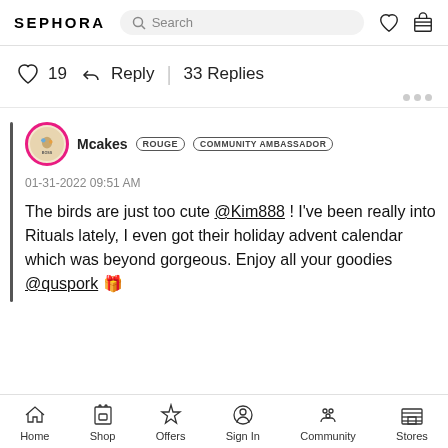SEPHORA Search
19  Reply  |  33 Replies
Mcakes  ROUGE  COMMUNITY AMBASSADOR
01-31-2022 09:51 AM
The birds are just too cute @Kim888 ! I've been really into Rituals lately, I even got their holiday advent calendar which was beyond gorgeous. Enjoy all your goodies @quspork 🎁
Home  Shop  Offers  Sign In  Community  Stores